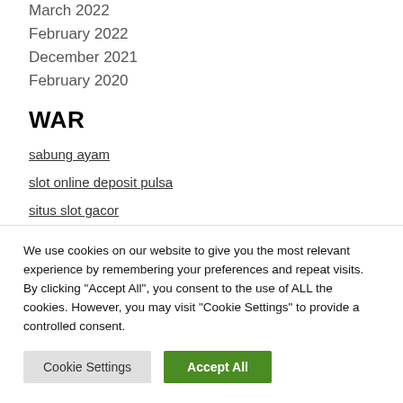March 2022
February 2022
December 2021
February 2020
WAR
sabung ayam
slot online deposit pulsa
situs slot gacor
We use cookies on our website to give you the most relevant experience by remembering your preferences and repeat visits. By clicking "Accept All", you consent to the use of ALL the cookies. However, you may visit "Cookie Settings" to provide a controlled consent.
Cookie Settings | Accept All